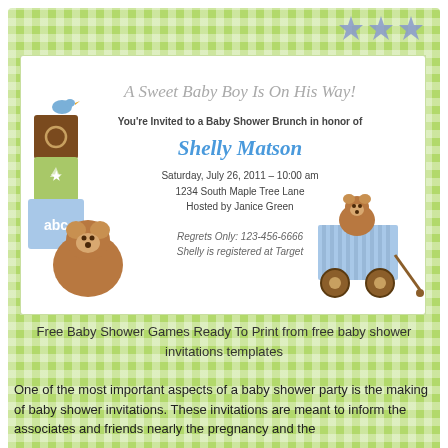[Figure (illustration): Baby shower invitation card with green gingham border, teddy bears, blocks with abc and star, blue bird, and stars. Text reads: A Sweet Baby Boy Is On His Way! You're Invited to a Baby Shower Brunch in honor of Shelly Matson. Saturday, July 26, 2011 - 10:00 am. 1234 South Maple Tree Lane. Hosted by Janice Green. Regrets Only: 123-456-6666. Shelly is registered at Target.]
Free Baby Shower Games Ready To Print from free baby shower invitations templates
One of the most important aspects of a baby shower party is the making of baby shower invitations. These invitations are meant to inform the associates and friends nearly the pregnancy and the